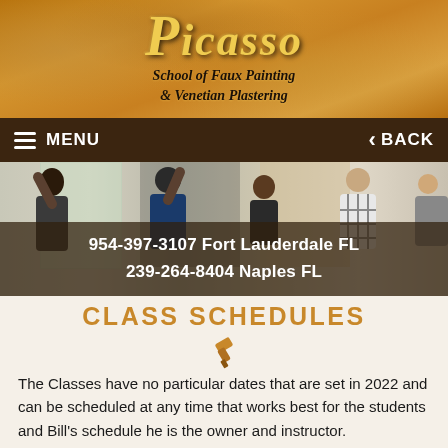[Figure (logo): Picasso School of Faux Painting & Venetian Plastering logo on a textured golden-brown background]
MENU   BACK
[Figure (photo): Students painting on walls in a classroom setting, viewed from behind]
954-397-3107 Fort Lauderdale FL
239-264-8404 Naples FL
CLASS SCHEDULES
[Figure (illustration): Small gold paint brush/trowel icon]
The Classes have no particular dates that are set in 2022 and can be scheduled at any time that works best for the students and Bill's schedule he is the owner and instructor.